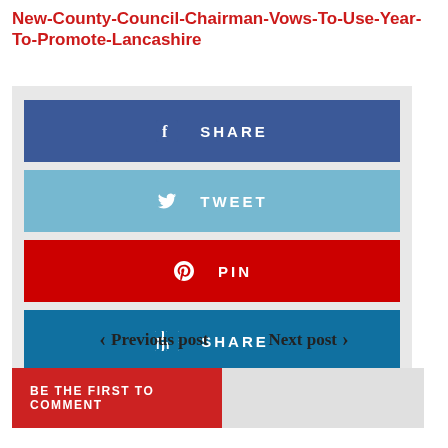New-County-Council-Chairman-Vows-To-Use-Year-To-Promote-Lancashire
[Figure (infographic): Social share buttons: Facebook SHARE (blue), Twitter TWEET (light blue), Pinterest PIN (red), LinkedIn SHARE (dark blue)]
< Previous post   Next post >
BE THE FIRST TO COMMENT